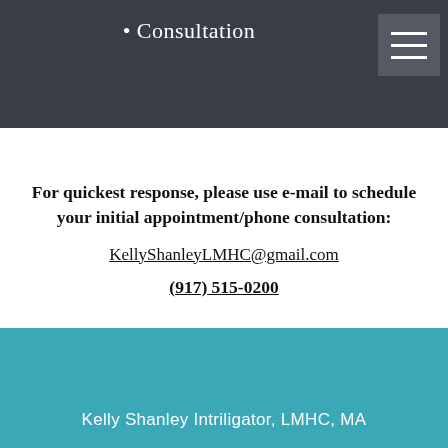• Consultation
For quickest response, please use e-mail to schedule your initial appointment/phone consultation:
KellyShanleyLMHC@gmail.com
(917) 515-0200
Kelly Shanley Intriligator, LMHC, MA